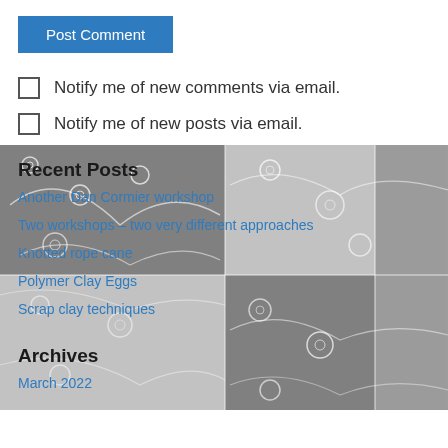Post Comment
Notify me of new comments via email.
Notify me of new posts via email.
Recent Posts
Another Dan Cormier workshop
Two workshops – two very different approaches
Knotted rope cane
Polymer Clay Eggs
Scrap clay techniques
Archives
March 2022